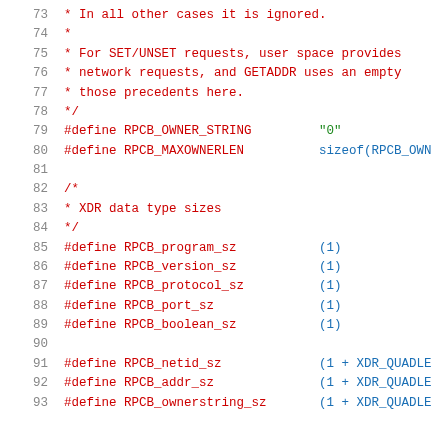Source code listing lines 73-93 showing C preprocessor defines and comments for RPCB constants and XDR data type sizes.